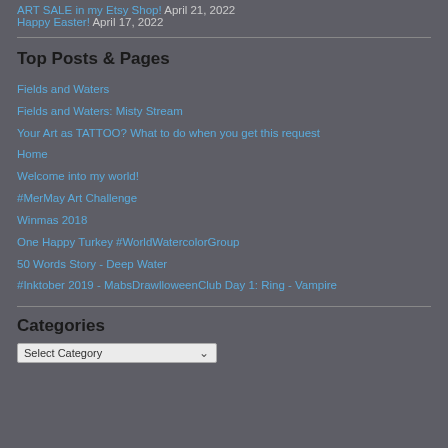ART SALE in my Etsy Shop! April 21, 2022
Happy Easter! April 17, 2022
Top Posts & Pages
Fields and Waters
Fields and Waters: Misty Stream
Your Art as TATTOO? What to do when you get this request
Home
Welcome into my world!
#MerMay Art Challenge
Winmas 2018
One Happy Turkey #WorldWatercolorGroup
50 Words Story - Deep Water
#Inktober 2019 - MabsDrawlloweenClub Day 1: Ring - Vampire
Categories
Select Category